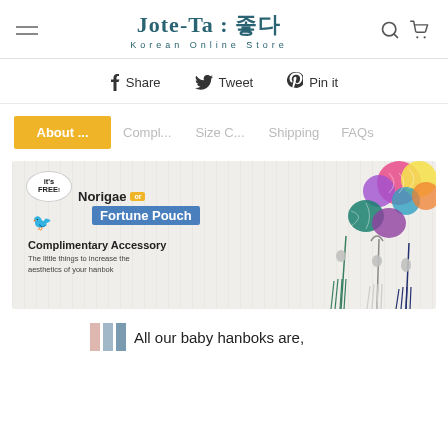Jote-Ta : 좋다 — Korean Online Store
Share  Tweet  Pin it
About ...  Compl...  Size C...  Shipping  FAQs
[Figure (illustration): Promotional banner for Jote-Ta Korean Online Store showing a free complimentary accessory offer. Text reads 'FREE! Norigae or Fortune Pouch — Complimentary Accessory — The little things to increase the aesthetics of your hanbok'. Right side shows colorful Korean norigae and fortune pouch accessories including bojagi balls and tassel pendants.]
All our baby hanboks are,